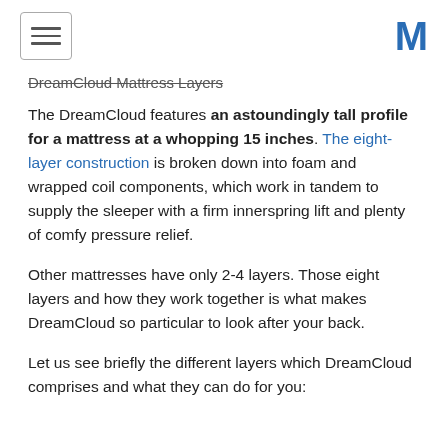DreamCloud Mattress Layers
The DreamCloud features an astoundingly tall profile for a mattress at a whopping 15 inches. The eight-layer construction is broken down into foam and wrapped coil components, which work in tandem to supply the sleeper with a firm innerspring lift and plenty of comfy pressure relief.
Other mattresses have only 2-4 layers. Those eight layers and how they work together is what makes DreamCloud so particular to look after your back.
Let us see briefly the different layers which DreamCloud comprises and what they can do for you: